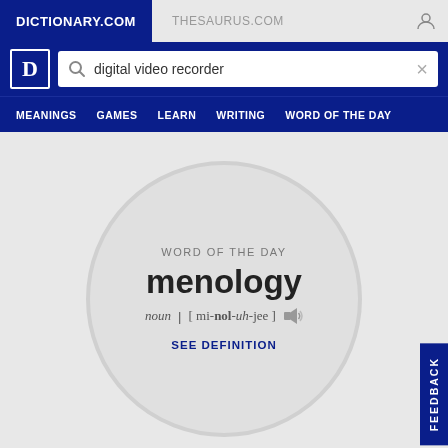DICTIONARY.COM | THESAURUS.COM
[Figure (screenshot): Dictionary.com website screenshot showing search bar with 'digital video recorder' and navigation menu with MEANINGS, GAMES, LEARN, WRITING, WORD OF THE DAY]
WORD OF THE DAY
menology
noun | [mi-nol-uh-jee]
SEE DEFINITION
FEEDBACK